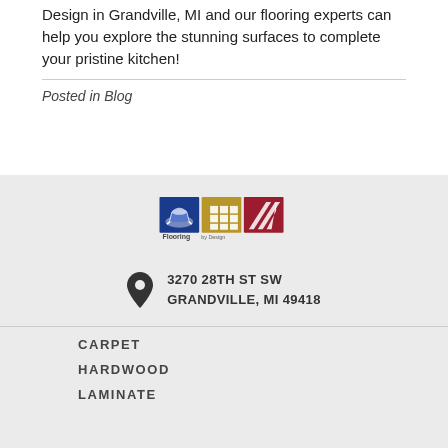Design in Grandville, MI and our flooring experts can help you explore the stunning surfaces to complete your pristine kitchen!
Posted in Blog
[Figure (logo): Flooring by Design logo with three colored squares (blue, gold, dark red) containing flooring icons and text 'Flooring by Design']
3270 28TH ST SW
GRANDVILLE, MI 49418
CARPET
HARDWOOD
LAMINATE